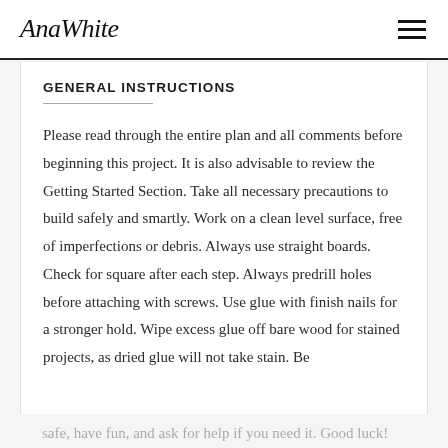AnaWhite
GENERAL INSTRUCTIONS
Please read through the entire plan and all comments before beginning this project. It is also advisable to review the Getting Started Section. Take all necessary precautions to build safely and smartly. Work on a clean level surface, free of imperfections or debris. Always use straight boards. Check for square after each step. Always predrill holes before attaching with screws. Use glue with finish nails for a stronger hold. Wipe excess glue off bare wood for stained projects, as dried glue will not take stain. Be safe, have fun, and ask for help if you need it. Good luck!